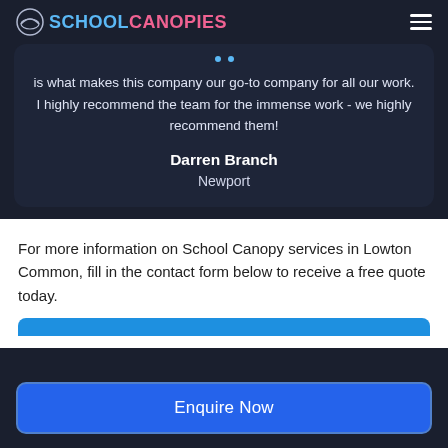SCHOOL CANOPIES
is what makes this company our go-to company for all our work. I highly recommend the team for the immense work - we highly recommend them!
Darren Branch
Newport
For more information on School Canopy services in Lowton Common, fill in the contact form below to receive a free quote today.
Enquire Now